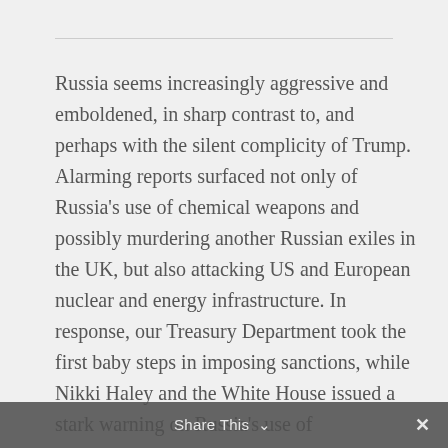Russia seems increasingly aggressive and emboldened, in sharp contrast to, and perhaps with the silent complicity of Trump. Alarming reports surfaced not only of Russia's use of chemical weapons and possibly murdering another Russian exiles in the UK, but also attacking US and European nuclear and energy infrastructure. In response, our Treasury Department took the first baby steps in imposing sanctions, while Nikki Haley and the White House issued a stark warning on Russia's use of
Share This ∨  ✕